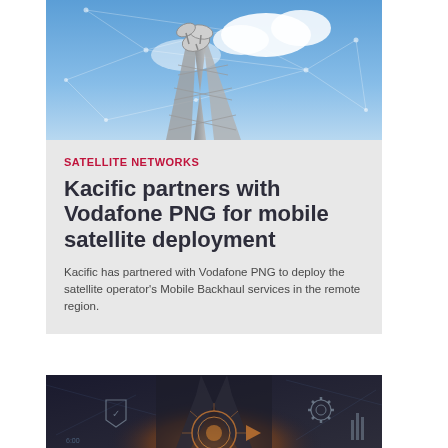[Figure (photo): Telecommunications tower with satellite dishes against a blue sky with white clouds and geometric network overlay lines]
SATELLITE NETWORKS
Kacific partners with Vodafone PNG for mobile satellite deployment
Kacific has partnered with Vodafone PNG to deploy the satellite operator's Mobile Backhaul services in the remote region.
[Figure (photo): Person in suit using futuristic technology interface with glowing circles and gear icons overlay]